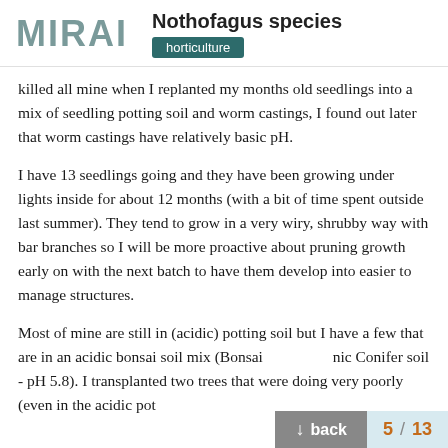MIRAI — Nothofagus species — horticulture
killed all mine when I replanted my months old seedlings into a mix of seedling potting soil and worm castings, I found out later that worm castings have relatively basic pH.
I have 13 seedlings going and they have been growing under lights inside for about 12 months (with a bit of time spent outside last summer). They tend to grow in a very wiry, shrubby way with bar branches so I will be more proactive about pruning growth early on with the next batch to have them develop into easier to manage structures.
Most of mine are still in (acidic) potting soil but I have a few that are in an acidic bonsai soil mix (Bonsai … nic Conifer soil - pH 5.8). I transplanted two trees that were doing very poorly (even in the acidic pot…
back  5 / 13